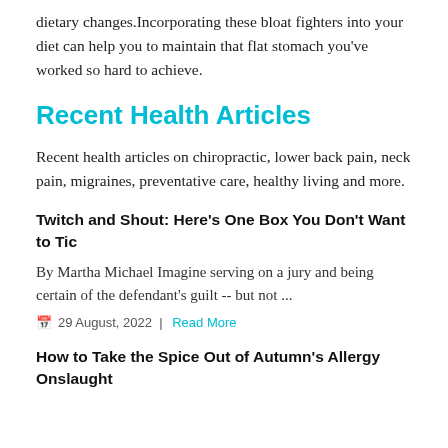dietary changes.Incorporating these bloat fighters into your diet can help you to maintain that flat stomach you've worked so hard to achieve.
Recent Health Articles
Recent health articles on chiropractic, lower back pain, neck pain, migraines, preventative care, healthy living and more.
Twitch and Shout: Here's One Box You Don't Want to Tic
By Martha Michael Imagine serving on a jury and being certain of the defendant's guilt -- but not ...
📅 29 August, 2022  |  Read More
How to Take the Spice Out of Autumn's Allergy Onslaught